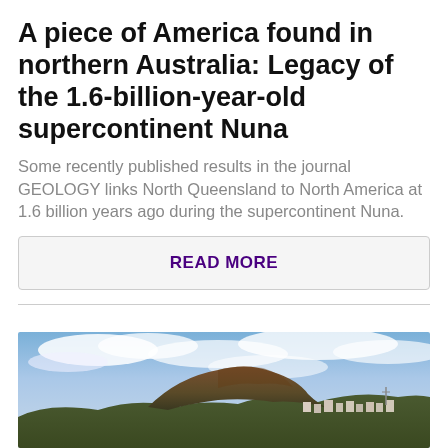A piece of America found in northern Australia: Legacy of the 1.6-billion-year-old supercontinent Nuna
Some recently published results in the journal GEOLOGY links North Queensland to North America at 1.6 billion years ago during the supercontinent Nuna.
READ MORE
[Figure (photo): Landscape photo showing a rocky hill/mountain with a town at its base and a dramatic cloudy sky with blue sky visible]